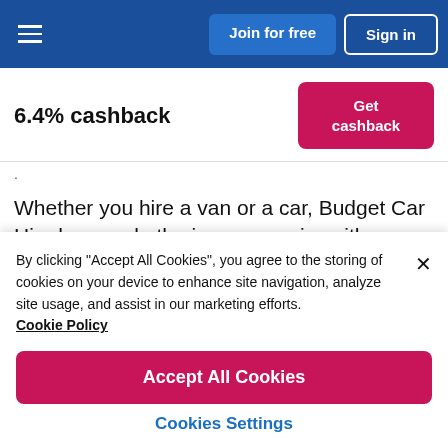Join for free | Sign in
6.4% cashback
Get cashback
Whether you hire a van or a car, Budget Car Hire has made the journey easier with accessory hire such as GPS, additional driver cover and child seats. Other
By clicking "Accept All Cookies", you agree to the storing of cookies on your device to enhance site navigation, analyze site usage, and assist in our marketing efforts. Cookie Policy
Accept All Cookies
Cookies Settings